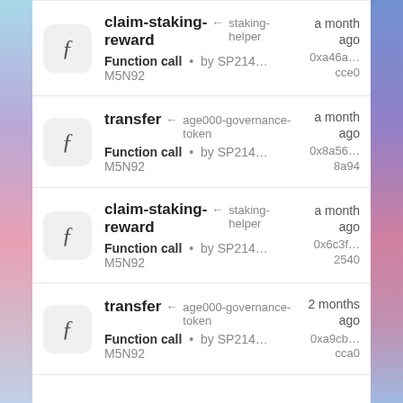claim-staking-reward ← staking-helper | Function call • by SP214...M5N92 | a month ago | 0xa46a...cce0
transfer ← age000-governance-token | Function call • by SP214...M5N92 | a month ago | 0x8a56...8a94
claim-staking-reward ← staking-helper | Function call • by SP214...M5N92 | a month ago | 0x6c3f...2540
transfer ← age000-governance-token | Function call • by SP214...M5N92 | 2 months ago | 0xa9cb...cca0